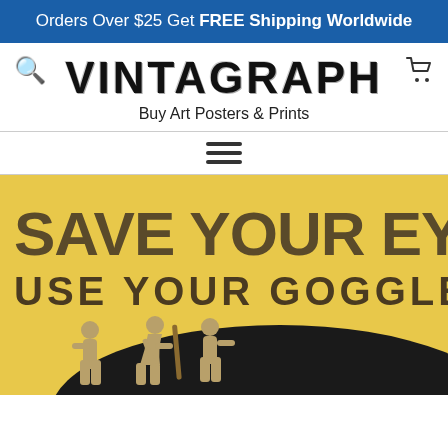Orders Over $25 Get FREE Shipping Worldwide
VINTAGRAPH
Buy Art Posters & Prints
[Figure (illustration): Hamburger menu icon with three horizontal lines]
[Figure (illustration): Vintage safety poster showing 'SAVE YOUR EYES — USE YOUR GOGGLES' with silhouettes of workers on a yellow background]